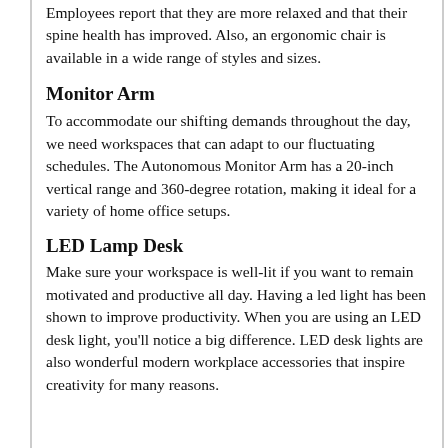Employees report that they are more relaxed and that their spine health has improved. Also, an ergonomic chair is available in a wide range of styles and sizes.
Monitor Arm
To accommodate our shifting demands throughout the day, we need workspaces that can adapt to our fluctuating schedules. The Autonomous Monitor Arm has a 20-inch vertical range and 360-degree rotation, making it ideal for a variety of home office setups.
LED Lamp Desk
Make sure your workspace is well-lit if you want to remain motivated and productive all day. Having a led light has been shown to improve productivity. When you are using an LED desk light, you'll notice a big difference. LED desk lights are also wonderful modern workplace accessories that inspire creativity for many reasons.